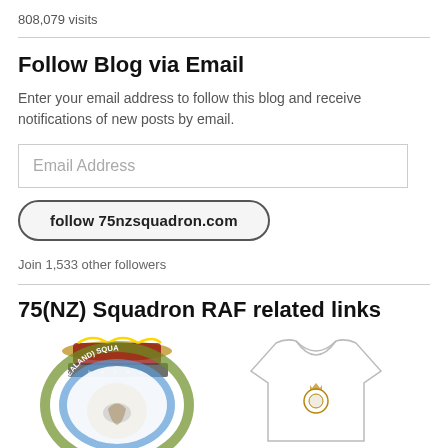808,079 visits
Follow Blog via Email
Enter your email address to follow this blog and receive notifications of new posts by email.
Email Address
follow 75nzsquadron.com
Join 1,533 other followers
75(NZ) Squadron RAF related links
[Figure (logo): 75(NZ) Squadron RAF badge/crest with laurel wreath and crown, partial view]